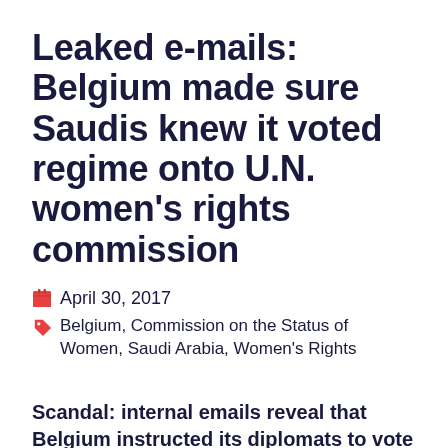Leaked e-mails: Belgium made sure Saudis knew it voted regime onto U.N. women's rights commission
April 30, 2017
Belgium, Commission on the Status of Women, Saudi Arabia, Women's Rights
Scandal: internal emails reveal that Belgium instructed its diplomats to vote Saudi Arabia onto the U.N. women's rights commission — and to make sure